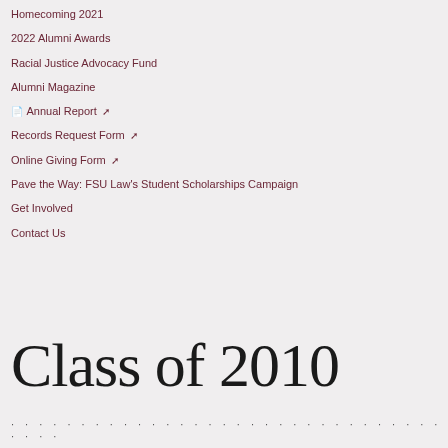Homecoming 2021
2022 Alumni Awards
Racial Justice Advocacy Fund
Alumni Magazine
🗋 Annual Report 🗗
Records Request Form 🗗
Online Giving Form 🗗
Pave the Way: FSU Law's Student Scholarships Campaign
Get Involved
Contact Us
Class of 2010